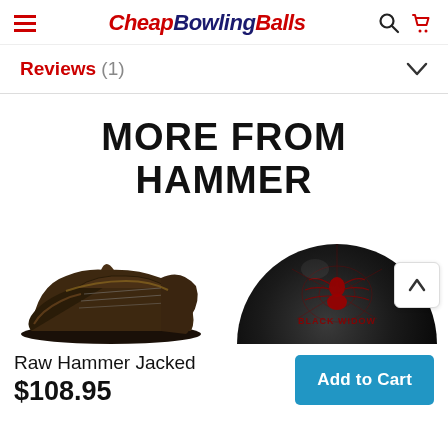CheapBowlingBalls
Reviews (1)
MORE FROM HAMMER
[Figure (photo): Dark brown lace-up bowling shoe (Raw Hammer Jacked) viewed from side angle]
[Figure (photo): Black bowling ball with Red Black Widow spider graphic on surface, partially visible]
Raw Hammer Jacked
$108.95